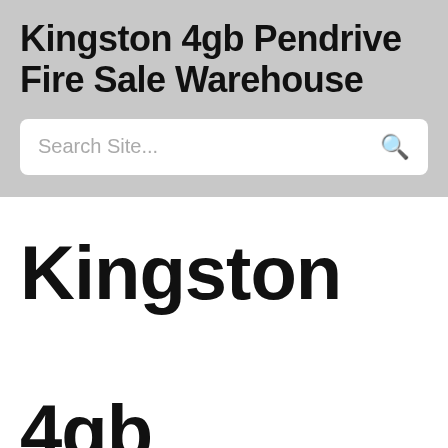Kingston 4gb Pendrive Fire Sale Warehouse
Search Site...
Kingston 4gb